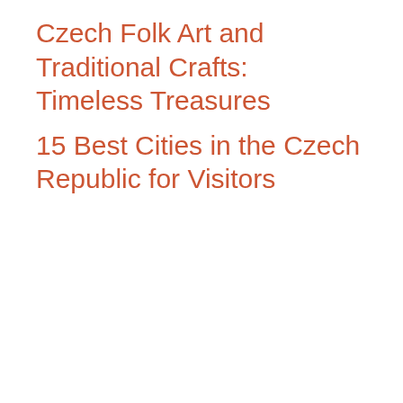Czech Folk Art and Traditional Crafts: Timeless Treasures
15 Best Cities in the Czech Republic for Visitors
We use cookies to optimize our website and our service.
ACCEPT
DENY
PREFERENCES
Cookie Policy  Privacy Policy